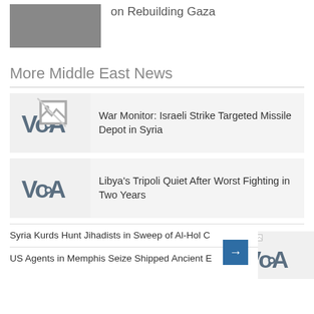[Figure (other): Gray image placeholder with headline 'on Rebuilding Gaza' to the right]
on Rebuilding Gaza
More Middle East News
[Figure (logo): VOA logo in gray box with broken image icon]
War Monitor: Israeli Strike Targeted Missile Depot in Syria
[Figure (logo): VOA logo in gray box]
Libya's Tripoli Quiet After Worst Fighting in Two Years
Syria Kurds Hunt Jihadists in Sweep of Al-Hol C…
US Agents in Memphis Seize Shipped Ancient E…